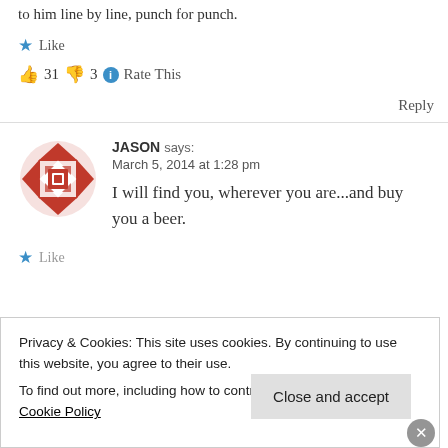to him line by line, punch for punch.
★ Like
👍 31 👎 3 ℹ Rate This
Reply
JASON says: March 5, 2014 at 1:28 pm
I will find you, wherever you are...and buy you a beer.
★ Like
Privacy & Cookies: This site uses cookies. By continuing to use this website, you agree to their use. To find out more, including how to control cookies, see here: Cookie Policy
Close and accept